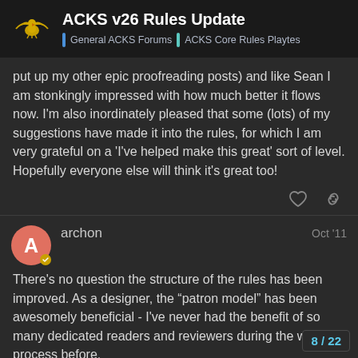ACKS v26 Rules Update | General ACKS Forums | ACKS Core Rules Playtes
put up my other epic proofreading posts) and like Sean I am stonkingly impressed with how much better it flows now. I'm also inordinately pleased that some (lots) of my suggestions have made it into the rules, for which I am very grateful on a 'I've helped make this great' sort of level. Hopefully everyone else will think it's great too!
archon  Oct '11
There's no question the structure of the rules has been improved. As a designer, the “patron model” has been awesomely beneficial - I've never had the benefit of so many dedicated readers and reviewers during the writing process before.
And James, thank you for your egregiously
8 / 22